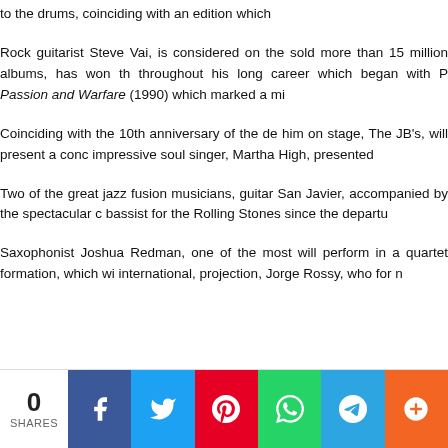to the drums, coinciding with an edition which
Rock guitarist Steve Vai, is considered on the sold more than 15 million albums, has won th throughout his long career which began with P Passion and Warfare (1990) which marked a mi
Coinciding with the 10th anniversary of the de him on stage, The JB's, will present a conc impressive soul singer, Martha High, presented
Two of the great jazz fusion musicians, guitar San Javier, accompanied by the spectacular c bassist for the Rolling Stones since the departu
Saxophonist Joshua Redman, one of the most will perform in a quartet formation, which wi international, projection, Jorge Rossy, who for n
0 SHARES | Facebook | Twitter | Pinterest | WhatsApp | Telegram | More